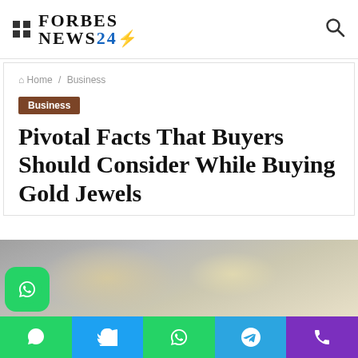FORBES NEWS24
Home / Business
Business
Pivotal Facts That Buyers Should Consider While Buying Gold Jewels
[Figure (photo): Blurred photo of gold jewels in the background]
[Figure (infographic): Social media sharing bar with WhatsApp, Twitter, WhatsApp, Telegram, and phone icons]